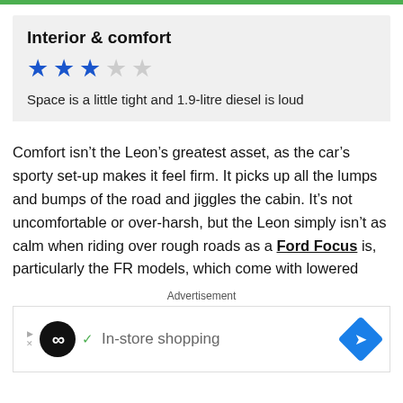Interior & comfort
[Figure (other): 3 out of 5 stars rating (3 filled blue stars, 2 empty grey stars)]
Space is a little tight and 1.9-litre diesel is loud
Comfort isn't the Leon's greatest asset, as the car's sporty set-up makes it feel firm. It picks up all the lumps and bumps of the road and jiggles the cabin. It's not uncomfortable or over-harsh, but the Leon simply isn't as calm when riding over rough roads as a Ford Focus is, particularly the FR models, which come with lowered
Advertisement
[Figure (other): Advertisement banner: infinity logo circle, checkmark, In-store shopping text, blue diamond arrow icon]